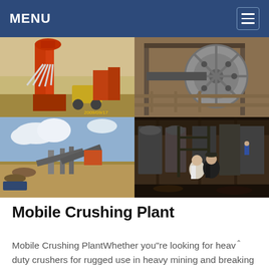MENU
[Figure (photo): Four-panel photo grid showing mobile crushing plant equipment: top-left shows orange industrial dust collector/separator machinery outdoors with a tractor visible, dated 2009/09/17; top-right shows heavy machinery flywheel/jaw crusher close-up; bottom-left shows a mobile crushing plant setup in an open field with conveyor belts; bottom-right shows two men standing inside a large industrial processing facility.]
Mobile Crushing Plant
Mobile Crushing PlantWhether you"re looking for heavy duty crushers for rugged use in heavy mining and breaking